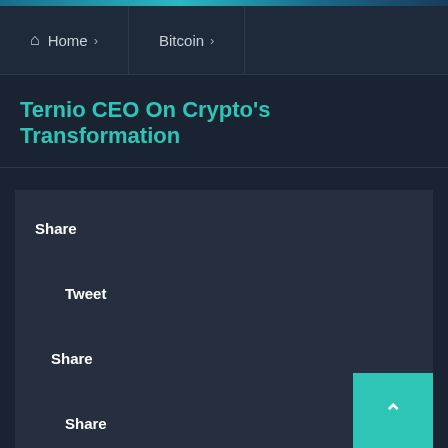Home › | Bitcoin ›
Ternio CEO On Crypto's Transformation
Share
Tweet
Share
Share